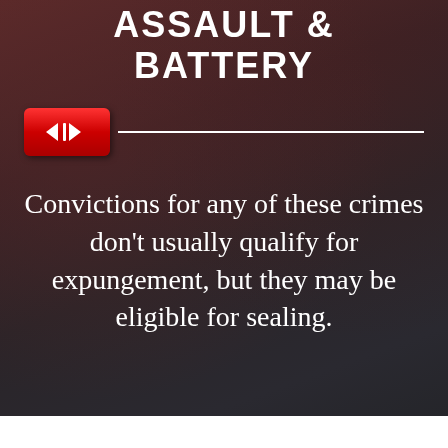ASSAULT & BATTERY
[Figure (other): Red media-player-style button with left and right arrow icons, followed by a horizontal white divider line]
Convictions for any of these crimes don't usually qualify for expungement, but they may be eligible for sealing.